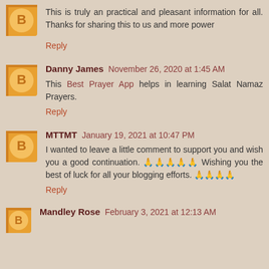This is truly an practical and pleasant information for all. Thanks for sharing this to us and more power
Reply
Danny James November 26, 2020 at 1:45 AM
This Best Prayer App helps in learning Salat Namaz Prayers.
Reply
MTTMT January 19, 2021 at 10:47 PM
I wanted to leave a little comment to support you and wish you a good continuation. 🙏🙏🙏🙏🙏 Wishing you the best of luck for all your blogging efforts. 🙏🙏🙏🙏
Reply
Mandley Rose February 3, 2021 at 12:13 AM